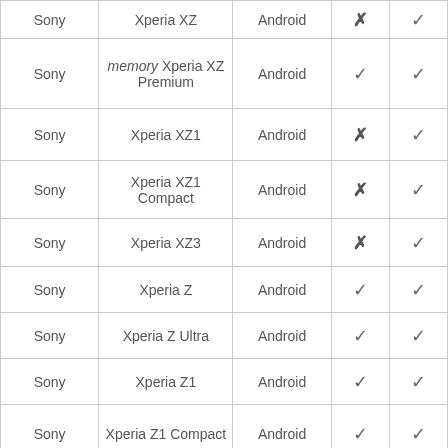| Brand | Model | OS | Col4 | Col5 |
| --- | --- | --- | --- | --- |
| Sony | Xperia XZ | Android | ✗ | ✓ |
| Sony | memory Xperia XZ Premium | Android | ✓ | ✓ |
| Sony | Xperia XZ1 | Android | ✗ | ✓ |
| Sony | Xperia XZ1 Compact | Android | ✗ | ✓ |
| Sony | Xperia XZ3 | Android | ✗ | ✓ |
| Sony | Xperia Z | Android | ✓ | ✓ |
| Sony | Xperia Z Ultra | Android | ✓ | ✓ |
| Sony | Xperia Z1 | Android | ✓ | ✓ |
| Sony | Xperia Z1 Compact | Android | ✓ | ✓ |
| Sony | Xperia Z2 | Android | ✗ | ✓ |